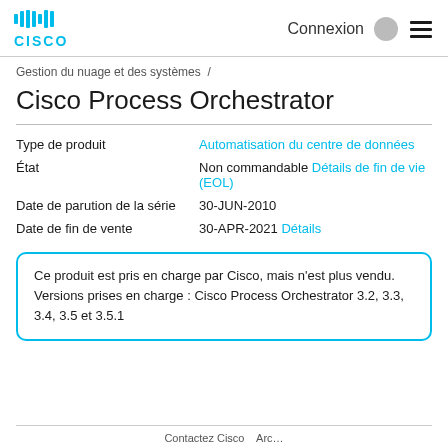Cisco logo | Connexion
Gestion du nuage et des systèmes /
Cisco Process Orchestrator
| Field | Value |
| --- | --- |
| Type de produit | Automatisation du centre de données |
| État | Non commandable Détails de fin de vie (EOL) |
| Date de parution de la série | 30-JUN-2010 |
| Date de fin de vente | 30-APR-2021 Détails |
Ce produit est pris en charge par Cisco, mais n'est plus vendu.
Versions prises en charge : Cisco Process Orchestrator 3.2, 3.3, 3.4, 3.5 et 3.5.1